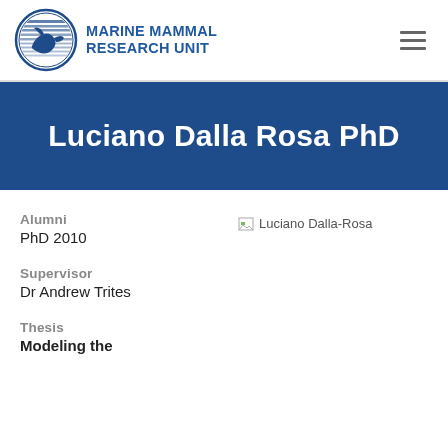[Figure (logo): Marine Mammal Research Unit circular logo with dolphin/seal silhouette and horizontal lines, next to organization name in blue text]
Luciano Dalla Rosa PhD
Alumni
PhD 2010
Supervisor
Dr Andrew Trites
Thesis
Modeling the
[Figure (photo): Broken image placeholder for Luciano Dalla-Rosa photo]